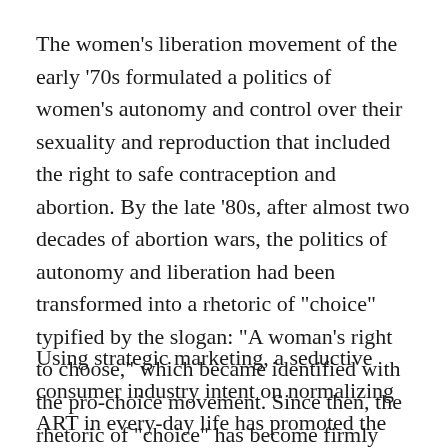The women's liberation movement of the early '70s formulated a politics of women's autonomy and control over their sexuality and reproduction that included the right to safe contraception and abortion. By the late '80s, after almost two decades of abortion wars, the politics of autonomy and liberation had been transformed into a rhetoric of "choice" typified by the slogan: "A woman's right to choose," which became identified with the pro-choice movement. Since then, the rhetoric of "choice" has become firmly associated with reproductive liberalism.
Using strategic marketing, a seductive consumer industry intent on normalizing ART in every-day life has promoted the rhetoric of "choice" in a new